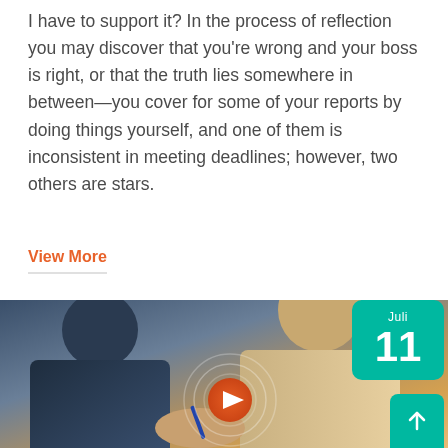I have to support it? In the process of reflection you may discover that you're wrong and your boss is right, or that the truth lies somewhere in between—you cover for some of your reports by doing things yourself, and one of them is inconsistent in meeting deadlines; however, two others are stars.
View More
[Figure (photo): Photo of two people in a business meeting setting with a video play button overlay. A date badge showing Juli 11 in teal/green color is in the top right corner.]